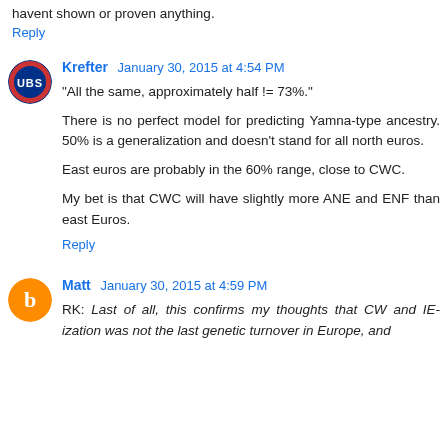havent shown or proven anything.
Reply
Krefter   January 30, 2015 at 4:54 PM
"All the same, approximately half != 73%."
There is no perfect model for predicting Yamna-type ancestry. 50% is a generalization and doesn't stand for all north euros.
East euros are probably in the 60% range, close to CWC.
My bet is that CWC will have slightly more ANE and ENF than east Euros.
Reply
Matt   January 30, 2015 at 4:59 PM
RK: Last of all, this confirms my thoughts that CW and IE-ization was not the last genetic turnover in Europe, and